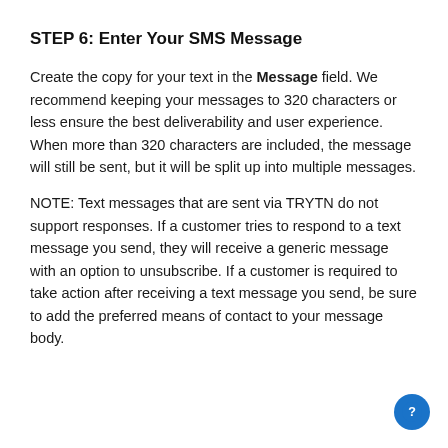STEP 6: Enter Your SMS Message
Create the copy for your text in the Message field. We recommend keeping your messages to 320 characters or less ensure the best deliverability and user experience. When more than 320 characters are included, the message will still be sent, but it will be split up into multiple messages.
NOTE: Text messages that are sent via TRYTN do not support responses. If a customer tries to respond to a text message you send, they will receive a generic message with an option to unsubscribe. If a customer is required to take action after receiving a text message you send, be sure to add the preferred means of contact to your message body.